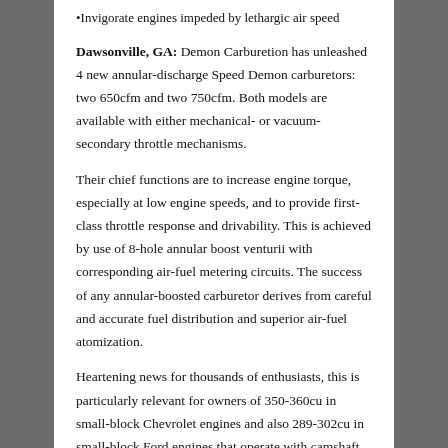•Invigorate engines impeded by lethargic air speed
Dawsonville, GA: Demon Carburetion has unleashed 4 new annular-discharge Speed Demon carburetors: two 650cfm and two 750cfm. Both models are available with either mechanical- or vacuum-secondary throttle mechanisms.
Their chief functions are to increase engine torque, especially at low engine speeds, and to provide first-class throttle response and drivability. This is achieved by use of 8-hole annular boost venturii with corresponding air-fuel metering circuits. The success of any annular-boosted carburetor derives from careful and accurate fuel distribution and superior air-fuel atomization.
Heartening news for thousands of enthusiasts, this is particularly relevant for owners of 350-360cu in small-block Chevrolet engines and also 289-302cu in small-block Ford engines that operate with camshaft durations of up to 240 degrees @ 0.050in of valve lift. In fact these carburetors, depending upon the engine combination, could invigorate any small displacement V8 engine that's impeded by lethargic air speed.